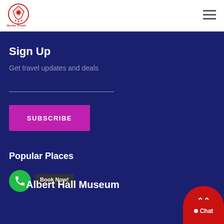[Figure (logo): Bonks Travel circular logo with red geometric icon and text]
Sign Up
Get travel updates and deals
SUBSCRIBE
Popular Places
Albert Hall Museum
Book Now!
Chat